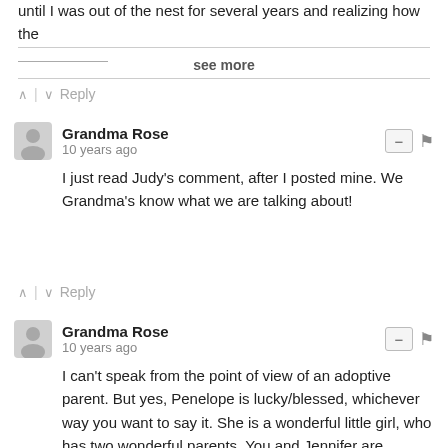until I was out of the nest for several years and realizing how  the
[truncated line]
see more
^ | v  Reply
Grandma Rose
10 years ago
I just read Judy's comment, after I posted mine. We Grandma's know what we are talking about!
^ | v  Reply
Grandma Rose
10 years ago
I can't speak from the point of view of an adoptive parent. But yes, Penelope is lucky/blessed, whichever way you want to say it. She is a wonderful little girl, who has two wonderful parents. You and Jennifer are lucky/blessed (again take your pick) to have her as a daughter. I think you told me that the Chinese believe that the three of your were destined to be together. I believe this also. Penelope's birth parents made an impossible decision that they felt they had to make. The concept of this is beyond our understanding, but it has resulted in the very lucky/blessed Uriz